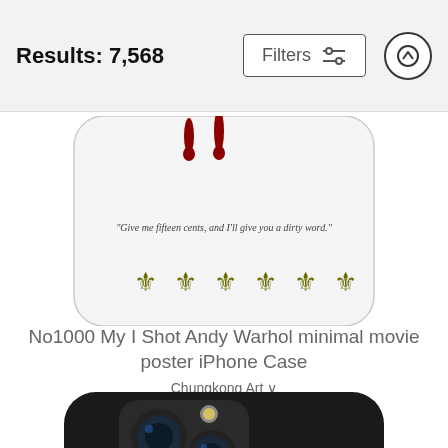Results: 7,568
Filters
[Figure (screenshot): Partial view of an iPhone case product image showing bottom portion with fleur-de-lis decorations and text 'Give me fifteen cents, and I'll give you a dirty word.']
No1000 My I Shot Andy Warhol minimal movie poster iPhone Case
Chungkong Art
$35
$28
[Figure (photo): Partial view of an iPhone case showing phone camera module on dark/black background]